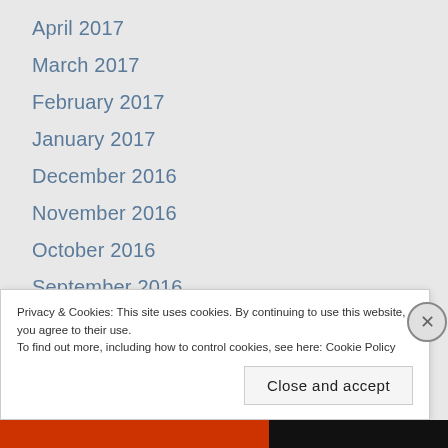April 2017
March 2017
February 2017
January 2017
December 2016
November 2016
October 2016
September 2016
August 2016
July 2016
June 2016
May 2016
Privacy & Cookies: This site uses cookies. By continuing to use this website, you agree to their use. To find out more, including how to control cookies, see here: Cookie Policy
Close and accept